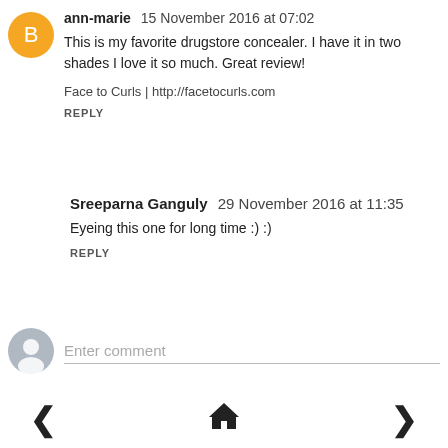ann-marie  15 November 2016 at 07:02
This is my favorite drugstore concealer. I have it in two shades I love it so much. Great review!
Face to Curls | http://facetocurls.com
REPLY
Sreeparna Ganguly  29 November 2016 at 11:35
Eyeing this one for long time :) :)
REPLY
Enter comment
< home >